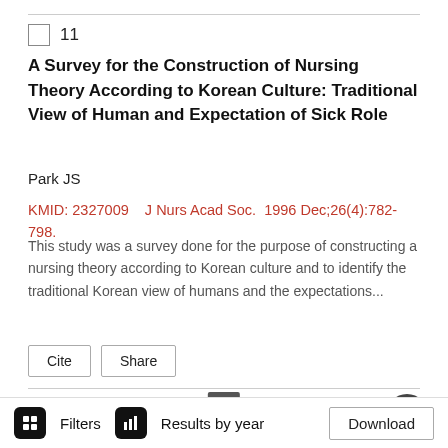11
A Survey for the Construction of Nursing Theory According to Korean Culture: Traditional View of Human and Expectation of Sick Role
Park JS
KMID: 2327009    J Nurs Acad Soc.  1996 Dec;26(4):782-798.
This study was a survey done for the purpose of constructing a nursing theory according to Korean culture and to identify the traditional Korean view of humans and the expectations...
Cite   Share
1
Filters   Results by year   Download